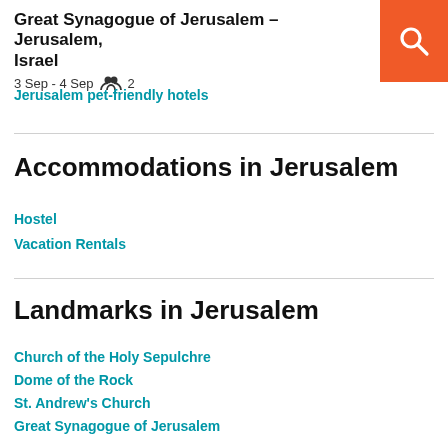Great Synagogue of Jerusalem – Jerusalem, Israel
3 Sep - 4 Sep  👥  2
Jerusalem pet-friendly hotels
Accommodations in Jerusalem
Hostel
Vacation Rentals
Landmarks in Jerusalem
Church of the Holy Sepulchre
Dome of the Rock
St. Andrew's Church
Great Synagogue of Jerusalem
Jaffa Gate
Temple Mount